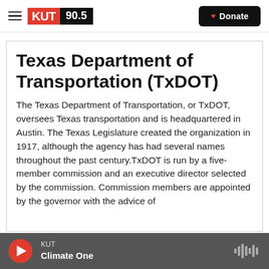KUT 90.5 | Donate
Texas Department of Transportation (TxDOT)
The Texas Department of Transportation, or TxDOT, oversees Texas transportation and is headquartered in Austin. The Texas Legislature created the organization in 1917, although the agency has had several names throughout the past century.TxDOT is run by a five-member commission and an executive director selected by the commission. Commission members are appointed by the governor with the advice of
KUT | Climate One